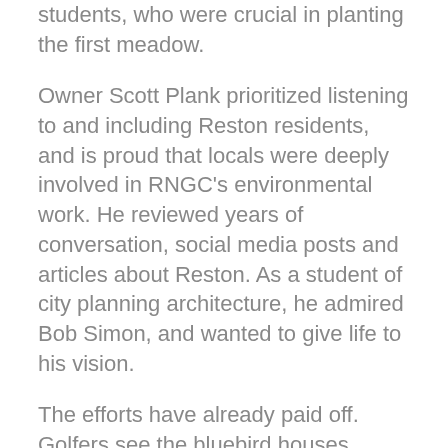students, who were crucial in planting the first meadow.
Owner Scott Plank prioritized listening to and including Reston residents, and is proud that locals were deeply involved in RNGC's environmental work. He reviewed years of conversation, social media posts and articles about Reston. As a student of city planning architecture, he admired Bob Simon, and wanted to give life to his vision.
The efforts have already paid off. Golfers see the bluebird houses, where Kris has counted 33 eggs, and Kris hears the golfers talk about other birds building nests. Golfers will see the Monarch butterfly garden and the signs explaining the garden, Monarch migration pattern and why Monarchs are endangered.